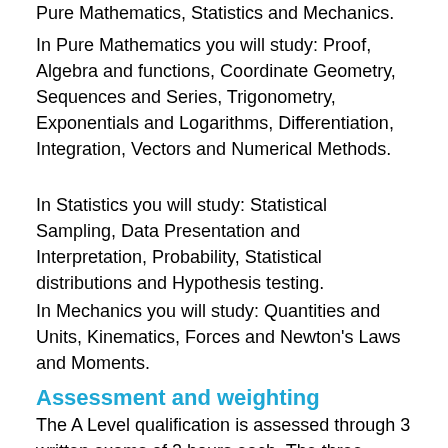Pure Mathematics, Statistics and Mechanics.
In Pure Mathematics you will study: Proof, Algebra and functions, Coordinate Geometry, Sequences and Series, Trigonometry, Exponentials and Logarithms, Differentiation, Integration, Vectors and Numerical Methods.
In Statistics you will study: Statistical Sampling, Data Presentation and Interpretation, Probability, Statistical distributions and Hypothesis testing.
In Mechanics you will study: Quantities and Units, Kinematics, Forces and Newton's Laws and Moments.
Assessment and weighting
The A Level qualification is assessed through 3 written exams of 2 hours each. The three exams are equally weighted and are split as follows: